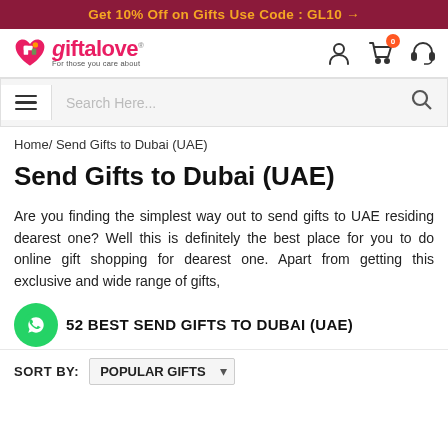Get 10% Off on Gifts Use Code : GL10 →
[Figure (logo): Giftalove logo with heart icon and tagline 'For those you care about']
Search Here...
Home/ Send Gifts to Dubai (UAE)
Send Gifts to Dubai (UAE)
Are you finding the simplest way out to send gifts to UAE residing dearest one? Well this is definitely the best place for you to do online gift shopping for dearest one. Apart from getting this exclusive and wide range of gifts,
52 BEST SEND GIFTS TO DUBAI (UAE)
SORT BY: POPULAR GIFTS